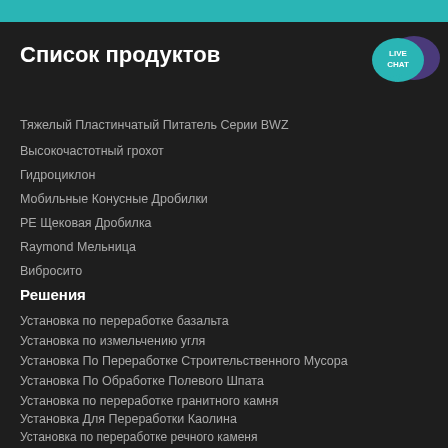Список продуктов
Тяжелый Пластинчатый Питатель Серии BWZ
Высокочастотный грохот
Гидроциклон
Мобильные Конусные Дробилки
PE Щековая Дробилка
Raymond Мельница
Вибросито
Решения
Установка по переработке базальта
Установка по измельчению угля
Установка По Переработке Строительственного Мусора
Установка По Обработке Полевого Шпата
Установка по переработке гранитного камня
Установка Для Переработки Каолина
Установка по переработке речного каменя
проектов